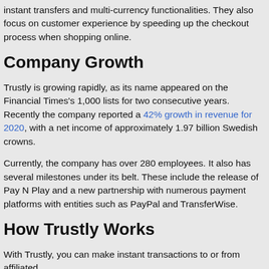instant transfers and multi-currency functionalities. They also focus on customer experience by speeding up the checkout process when shopping online.
Company Growth
Trustly is growing rapidly, as its name appeared on the Financial Times's 1,000 lists for two consecutive years. Recently the company reported a 42% growth in revenue for 2020, with a net income of approximately 1.97 billion Swedish crowns.
Currently, the company has over 280 employees. It also has several milestones under its belt. These include the release of Pay N Play and a new partnership with numerous payment platforms with entities such as PayPal and TransferWise.
How Trustly Works
With Trustly, you can make instant transactions to or from affiliated